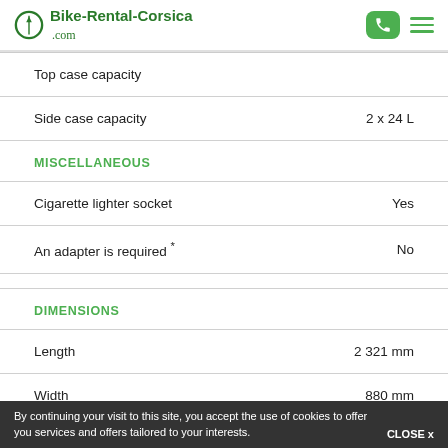Bike-Rental-Corsica.com
| Specification | Value |
| --- | --- |
| Top case capacity |  |
| Side case capacity | 2 x 24 L |
| MISCELLANEOUS |  |
| Cigarette lighter socket | Yes |
| An adapter is required * | No |
| DIMENSIONS |  |
| Length | 2 321 mm |
| Width | 880 mm |
| Weight with full tank | … |
By continuing your visit to this site, you accept the use of cookies to offer you services and offers tailored to your interests. CLOSE x